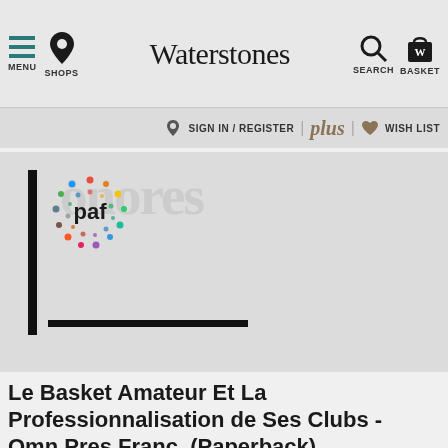MENU | SHOPS | Waterstones | SEARCH | BASKET
SIGN IN / REGISTER | plus | WISH LIST
[Figure (logo): PAF publisher logo with colorful dot circle pattern]
Le Basket Amateur Et La Professionnalisation de Ses Clubs - Omn.Pres.Franc. (Paperback)
Mathieu-N (author)
Sign in to write a review
Paperback
By clicking “Accept All Cookies”, you agree to the storing of cookies on your device to enhance site navigation, analyse site usage, and assist in our marketing efforts.